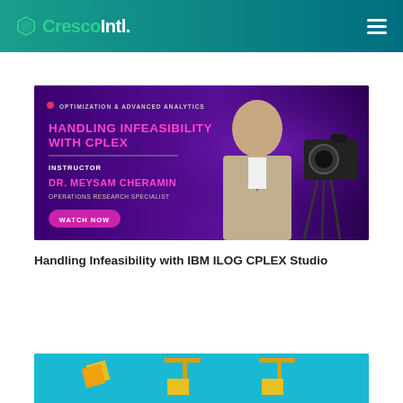CrescoIntl.
[Figure (screenshot): Course promotional banner: purple background, text 'OPTIMIZATION & ADVANCED ANALYTICS', 'HANDLING INFEASIBILITY WITH CPLEX', 'INSTRUCTOR', 'DR. MEYSAM CHERAMIN', 'OPERATIONS RESEARCH SPECIALIST', 'WATCH NOW' button, man in suit, camera on tripod.]
Handling Infeasibility with IBM ILOG CPLEX Studio
[Figure (illustration): Partial course card with blue/cyan background showing illustrated icons.]